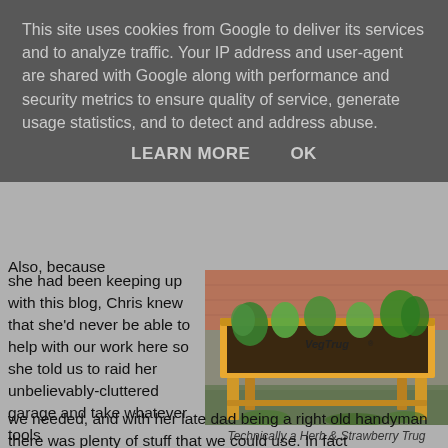This site uses cookies from Google to deliver its services and to analyze traffic. Your IP address and user-agent are shared with Google along with performance and security metrics to ensure quality of service, generate usage statistics, and to detect and address abuse.
LEARN MORE    OK
Also, because she had been keeping up with this blog, Chris knew that she'd never be able to help with our work here so she told us to raid her unbelievably-cluttered garage and take whatever tools we needed, and with her late dad being a right old handyman there was plenty of stuff that we could use. In fact
[Figure (photo): A yellow wooden VegTrug raised garden planter with herbs and plants growing in it, sitting outdoors on a patio. The planter has the VegTrug brand name on the side.]
Technically a Herb & Strawberry Trug